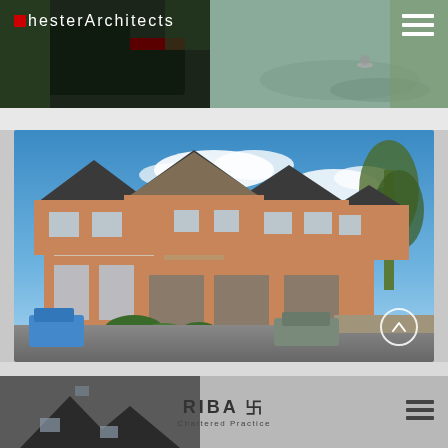[Figure (screenshot): Chester Architects website screenshot showing three sections: top banner with canal/narrowboat scene and logo, middle section with residential building photo, bottom section with RIBA Chartered Practice logo]
[Figure (photo): Top banner: canal scene with green narrowboat on left and a person rowing on right, with Chester Architects logo overlay and hamburger menu icon]
[Figure (photo): Middle: exterior photograph of modern residential apartment building with brick and timber cladding, balconies, blue sky, parked cars in foreground]
[Figure (logo): Bottom strip partial: RIBA chartered practice logo with decorative mark, on grey background with hamburger menu icon on right]